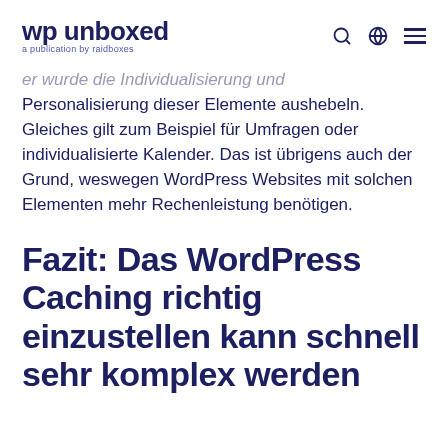wp unboxed — a publication by raidboxes
er wurde die Individualisierung und Personalisierung dieser Elemente aushebeln. Gleiches gilt zum Beispiel für Umfragen oder individualisierte Kalender. Das ist übrigens auch der Grund, weswegen WordPress Websites mit solchen Elementen mehr Rechenleistung benötigen.
Fazit: Das WordPress Caching richtig einzustellen kann schnell sehr komplex werden